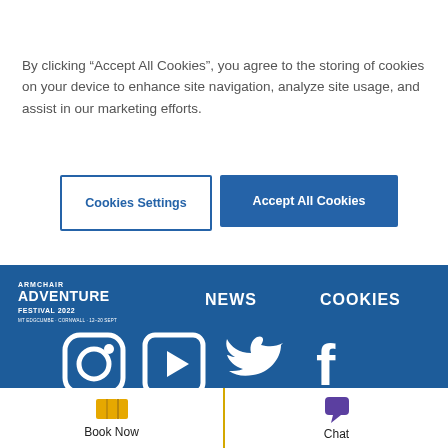By clicking “Accept All Cookies”, you agree to the storing of cookies on your device to enhance site navigation, analyze site usage, and assist in our marketing efforts.
Cookies Settings
Accept All Cookies
[Figure (screenshot): Armchair Adventure Festival 2022 website footer on blue background with NEWS and COOKIES navigation links, social media icons (Instagram, YouTube, Twitter, Facebook), and phone number +44 (0)7375 400 681. Below is a white bar with Book Now (yellow ticket icon) and Chat (purple speech bubble icon) buttons.]